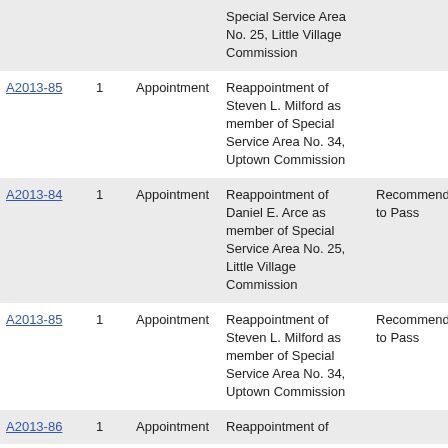| File | Ver. | Type | Description | Action |
| --- | --- | --- | --- | --- |
|  |  |  | Special Service Area No. 25, Little Village Commission |  |
| A2013-85 | 1 | Appointment | Reappointment of Steven L. Milford as member of Special Service Area No. 34, Uptown Commission |  |
| A2013-84 | 1 | Appointment | Reappointment of Daniel E. Arce as member of Special Service Area No. 25, Little Village Commission | Recommended to Pass |
| A2013-85 | 1 | Appointment | Reappointment of Steven L. Milford as member of Special Service Area No. 34, Uptown Commission | Recommended to Pass |
| A2013-86 | 1 | Appointment | Reappointment of |  |